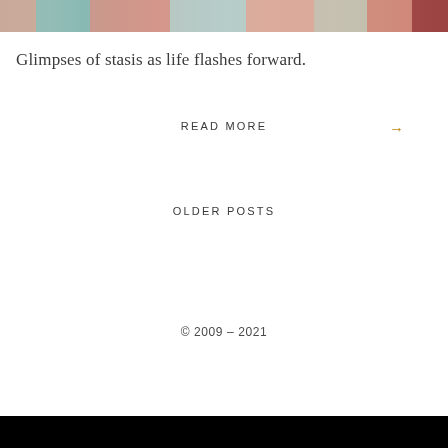[Figure (illustration): Cropped top portion of an abstract painting with geometric shapes in muted reds, teals, and creams]
Glimpses of stasis as life flashes forward.
READ MORE →
OLDER POSTS
© 2009 – 2021